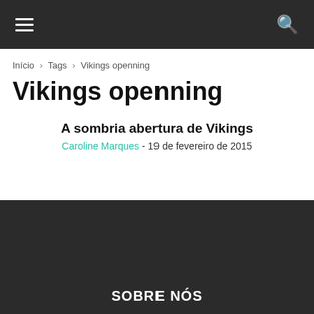≡  🔍
Início › Tags › Vikings openning
Vikings openning
A sombria abertura de Vikings
Caroline Marques - 19 de fevereiro de 2015
SOBRE NÓS